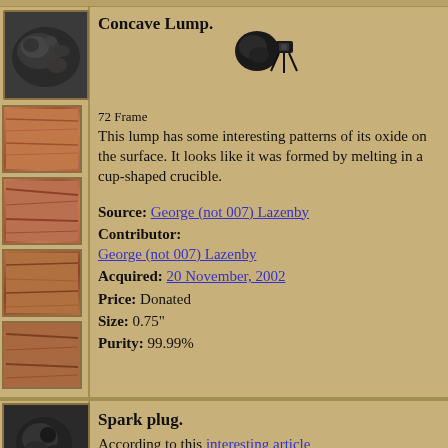[Figure (photo): Dark stone/metal lump, concave shape with oxide patterns on surface]
Concave Lump. This lump has some interesting patterns of its oxide on the surface. It looks like it was formed by melting in a cup-shaped crucible. Source: George (not 007) Lazenby Contributor: George (not 007) Lazenby Acquired: 20 November, 2002 Price: Donated Size: 0.75" Purity: 99.99%
[Figure (photo): Small 3D render icon of the lump with camera/tripod, labeled 72 Frame]
[Figure (photo): Four small wood-texture thumbnail images in left column]
Spark plug. According to this interesting article
[Figure (photo): Dark metallic spark plug object photo]